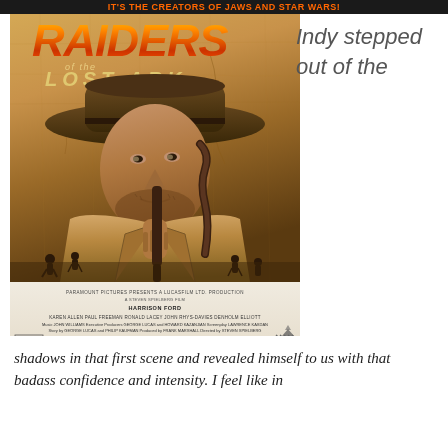IT'S THE CREATORS OF JAWS AND STAR WARS!
[Figure (photo): Raiders of the Lost Ark movie poster featuring Harrison Ford as Indiana Jones wearing a fedora hat and holding a whip, with the stylized movie title. Credits include Karen Allen, Paul Freeman, Ronald Lacey, John Rhys-Davies, Denholm Elliott; music by John Williams; produced by George Lucas and Howard Kazanjian; screenplay by Lawrence Kasdan; story by George Lucas and Philip Kaufman; directed by Steven Spielberg. A Paramount Picture. Rated PG.]
Indy stepped out of the
shadows in that first scene and revealed himself to us with that badass confidence and intensity. I feel like in